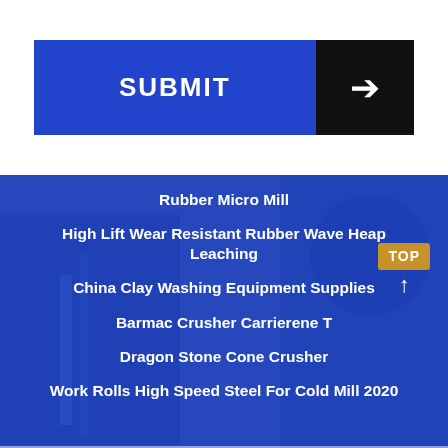[Figure (other): SUBMIT button with blue background and black arrow section on the right]
Rubber Micro Mill
High Lift Wear Resistant Rubber Wave Heap Leaching
China Clay Washing Equipment Supplies
Barmac Crusher Carrierene T
Dragon Stone Cone Crusher
Work Rolls High Speed Steel For Cold Mill 2020